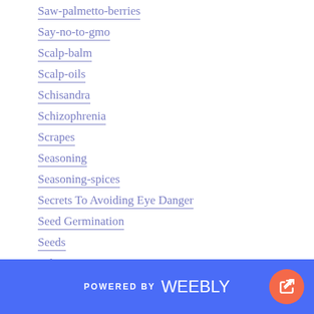Saw-palmetto-berries
Say-no-to-gmo
Scalp-balm
Scalp-oils
Schisandra
Schizophrenia
Scrapes
Seasoning
Seasoning-spices
Secrets To Avoiding Eye Danger
Seed Germination
Seeds
Selenium
Self-defense
SENSITIVE SKIN
Sexual Enhancement
Sexual Healing
POWERED BY weebly